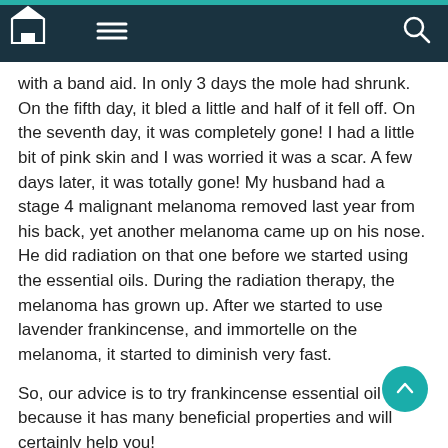[navigation bar with home, menu, and search icons]
with a band aid. In only 3 days the mole had shrunk. On the fifth day, it bled a little and half of it fell off. On the seventh day, it was completely gone! I had a little bit of pink skin and I was worried it was a scar. A few days later, it was totally gone! My husband had a stage 4 malignant melanoma removed last year from his back, yet another melanoma came up on his nose. He did radiation on that one before we started using the essential oils. During the radiation therapy, the melanoma has grown up. After we started to use lavender frankincense, and immortelle on the melanoma, it started to diminish very fast.
So, our advice is to try frankincense essential oil because it has many beneficial properties and will certainly help you!
http://www.healthyfoodandsporttips.com/the-truth-about-cancer-and-essential-oils-what-no-oncologist-will-tell-